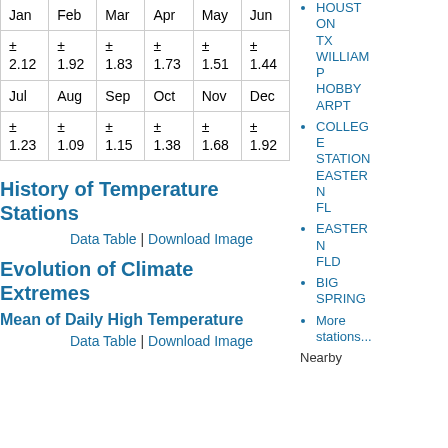| Jan | Feb | Mar | Apr | May | Jun |
| --- | --- | --- | --- | --- | --- |
| ± 2.12 | ± 1.92 | ± 1.83 | ± 1.73 | ± 1.51 | ± 1.44 |
| Jul | Aug | Sep | Oct | Nov | Dec |
| ± 1.23 | ± 1.09 | ± 1.15 | ± 1.38 | ± 1.68 | ± 1.92 |
History of Temperature Stations
Data Table | Download Image
Evolution of Climate Extremes
Mean of Daily High Temperature
Data Table | Download Image
HOUSTON TX WILLIAM P HOBBY ARPT
COLLEGE STATION EASTERN FL
EASTERN FLD
BIG SPRING
More stations...
Nearby